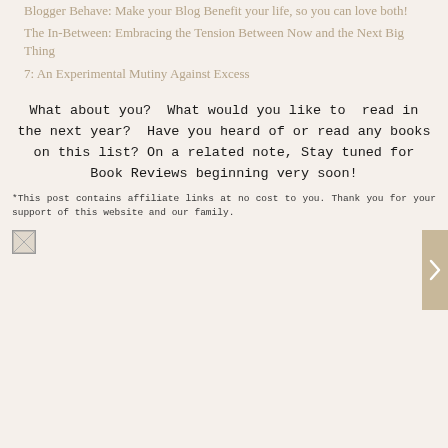Blogger Behave: Make your blog benefit your life, so you can love both!
The In-Between: Embracing the Tension Between Now and the Next Big Thing
7: An Experimental Mutiny Against Excess
What about you?  What would you like to  read in the next year?  Have you heard of or read any books on this list?  On a related note, Stay tuned for Book Reviews beginning very soon!
*This post contains affiliate links at no cost to you. Thank you for your support of this website and our family.
[Figure (illustration): Small placeholder image icon]